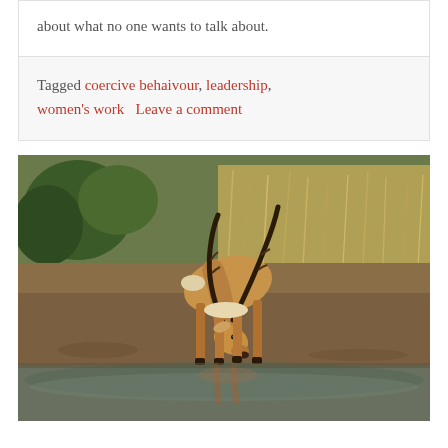about what no one wants to talk about.
Tagged coercive behaivour, leadership, women's work   Leave a comment
[Figure (photo): An impala or antelope with long curved horns bending down to drink water from a shallow water source. Dry earth and green scrub/grass visible in background. The animal's reflection is visible in the water.]